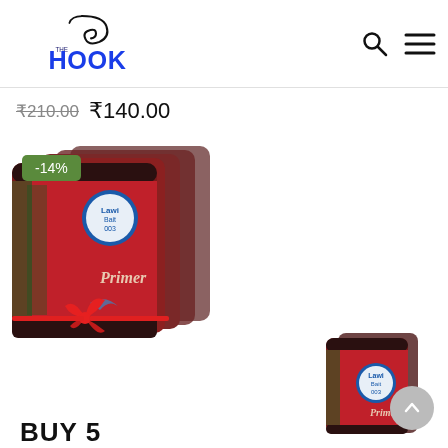The Hook (logo with search and menu icons)
₹210.00  ₹140.00
[Figure (photo): Five red pouches of Lawi Bait Primer product tied together with a red ribbon bow, bundled as a gift set]
-14%
[Figure (photo): Single red pouch of Lawi Bait Primer product]
BUY 5